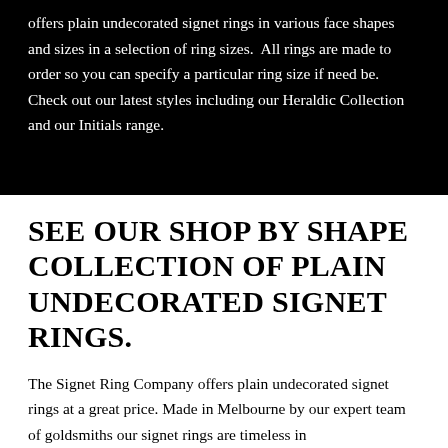offers plain undecorated signet rings in various face shapes and sizes in a selection of ring sizes.  All rings are made to order so you can specify a particular ring size if need be.
Check out our latest styles including our Heraldic Collection and our Initials range.
SEE OUR SHOP BY SHAPE COLLECTION OF PLAIN UNDECORATED SIGNET RINGS.
The Signet Ring Company offers plain undecorated signet rings at a great price. Made in Melbourne by our expert team of goldsmiths our signet rings are timeless in